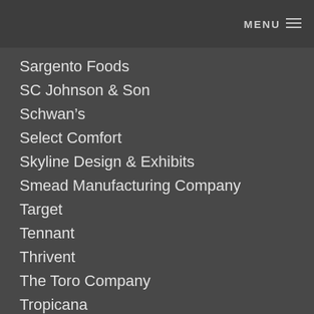MENU
Sargento Foods
SC Johnson & Son
Schwan’s
Select Comfort
Skyline Design & Exhibits
Smead Manufacturing Company
Target
Tennant
Thrivent
The Toro Company
Tropicana
Tyson Foods